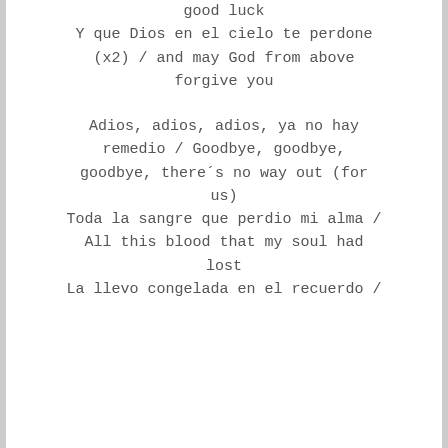good luck
Y que Dios en el cielo te perdone (x2) / and may God from above forgive you
Adios, adios, adios, ya no hay remedio / Goodbye, goodbye, goodbye, there´s no way out (for us)
Toda la sangre que perdio mi alma / All this blood that my soul had lost
La llevo congelada en el recuerdo /